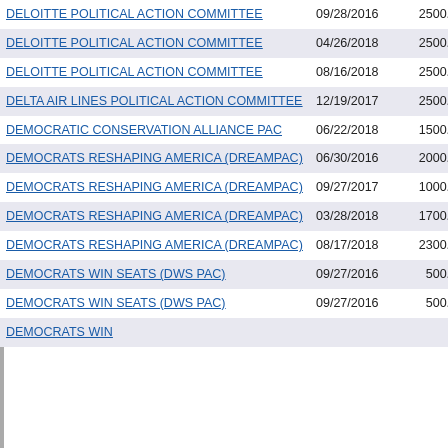| Name | Date | Amount | Link |
| --- | --- | --- | --- |
| DELOITTE POLITICAL ACTION COMMITTEE | 09/28/2016 | 2500.00 | 201... |
| DELOITTE POLITICAL ACTION COMMITTEE | 04/26/2018 | 2500.00 | 201... |
| DELOITTE POLITICAL ACTION COMMITTEE | 08/16/2018 | 2500.00 | 201... |
| DELTA AIR LINES POLITICAL ACTION COMMITTEE | 12/19/2017 | 2500.00 | 201... |
| DEMOCRATIC CONSERVATION ALLIANCE PAC | 06/22/2018 | 1500.00 | 201... |
| DEMOCRATS RESHAPING AMERICA (DREAMPAC) | 06/30/2016 | 2000.00 | 201... |
| DEMOCRATS RESHAPING AMERICA (DREAMPAC) | 09/27/2017 | 1000.00 | 201... |
| DEMOCRATS RESHAPING AMERICA (DREAMPAC) | 03/28/2018 | 1700.00 | 201... |
| DEMOCRATS RESHAPING AMERICA (DREAMPAC) | 08/17/2018 | 2300.00 | 201... |
| DEMOCRATS WIN SEATS (DWS PAC) | 09/27/2016 | 500.00 | 201... |
| DEMOCRATS WIN SEATS (DWS PAC) | 09/27/2016 | 500.00 | 201... |
| DEMOCRATS WIN |  |  |  |